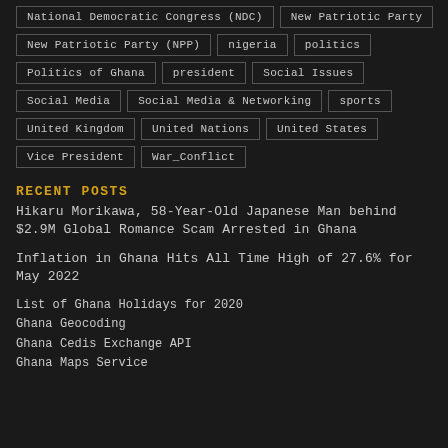National Democratic Congress (NDC)
New Patriotic Party
New Patriotic Party (NPP)
nigeria
politics
Politics of Ghana
president
Social Issues
Social Media
Social Media & Networking
sports
United Kingdom
United Nations
United States
Vice President
War_Conflict
RECENT POSTS
Hikaru Morikawa, 58-Year-Old Japanese Man behind $2.9M Global Romance Scam Arrested in Ghana
Inflation in Ghana Hits All Time High of 27.6% for May 2022
List of Ghana Holidays for 2020
Ghana Geocoding
Ghana Cedis Exchange API
Ghana Maps Service